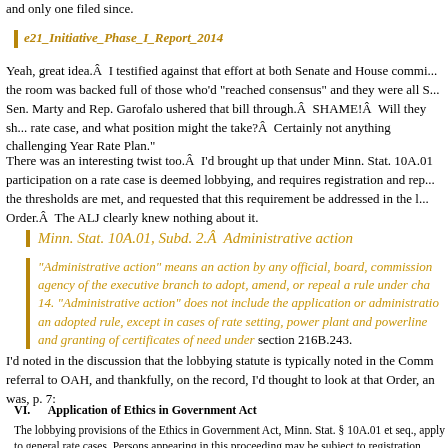and only one filed since.
e21_Initiative_Phase_I_Report_2014
Yeah, great idea.Â  I testified against that effort at both Senate and House commi... the room was backed full of those who’d “reached consensus” and they were all S... Sen. Marty and Rep. Garofalo ushered that bill through.Â  SHAME!Â  Will they sh... rate case, and what position might the take?Â  Certainly not anything challenging Year Rate Plan.”
There was an interesting twist too.Â  I’d brought up that under Minn. Stat. 10A.01 participation on a rate case is deemed lobbying, and requires registration and rep... the thresholds are met, and requested that this requirement be addressed in the l... Order.Â  The ALJ clearly knew nothing about it.
Minn. Stat. 10A.01, Subd. 2.Â  Administrative action
“Administrative action” means an action by any official, board, commission agency of the executive branch to adopt, amend, or repeal a rule under cha 14. “Administrative action” does not include the application or administratio an adopted rule, except in cases of rate setting, power plant and powerline and granting of certificates of need under section 216B.243.
I’d noted in the discussion that the lobbying statute is typically noted in the Comm referral to OAH, and thankfully, on the record, I’d thought to look at that Order, an was, p. 7:
VI.     Application of Ethics in Government Act
The lobbying provisions of the Ethics in Government Act, Minn. Stat. § 10A.01 et seq., apply to general rate cases. Persons appearing in this proceeding may be subject to registration, reporting, and other requirements set forth in that Act. All persons appearing in this case are urged to refe...